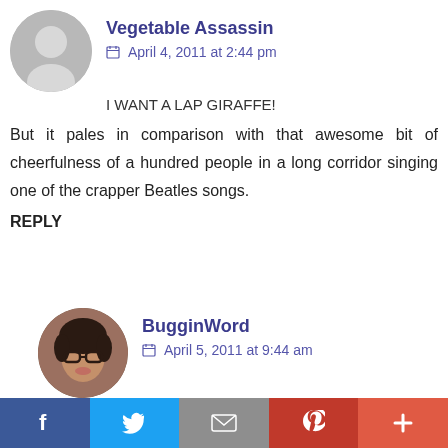[Figure (illustration): Grey placeholder avatar silhouette for user Vegetable Assassin]
Vegetable Assassin
April 4, 2011 at 2:44 pm
I WANT A LAP GIRAFFE!
But it pales in comparison with that awesome bit of cheerfulness of a hundred people in a long corridor singing one of the crapper Beatles songs.
REPLY
[Figure (photo): Round profile photo of BugginWord — a woman with glasses and dark hair]
BugginWord
April 5, 2011 at 9:44 am
Dude. Hamish, Herbert, and Archie need to some how get a uke mob together.
REPLY